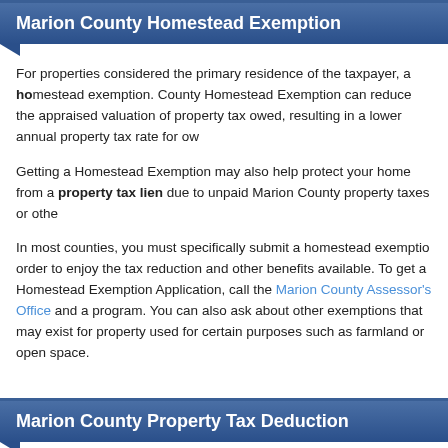Marion County Homestead Exemption
For properties considered the primary residence of the taxpayer, a homestead exemption. County Homestead Exemption can reduce the appraised valuation of property tax owed, resulting in a lower annual property tax rate for owners.
Getting a Homestead Exemption may also help protect your home from a property tax lien due to unpaid Marion County property taxes or other debts.
In most counties, you must specifically submit a homestead exemption in order to enjoy the tax reduction and other benefits available. To get a Homestead Exemption Application, call the Marion County Assessor's Office and ask about the program. You can also ask about other exemptions that may exist for property used for certain purposes such as farmland or open space.
Marion County Property Tax Deduction
You can usually deduct 100% of your Marion County property taxes from your Income Tax Return as an itemized deduction. Texas may also let you deduct property taxes on your Texas income tax return.